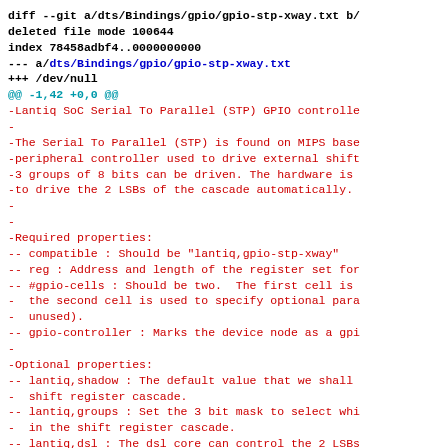diff --git a/dts/Bindings/gpio/gpio-stp-xway.txt b/
deleted file mode 100644
index 78458adbf4..0000000000
--- a/dts/Bindings/gpio/gpio-stp-xway.txt
+++ /dev/null
@@ -1,42 +0,0 @@
-Lantiq SoC Serial To Parallel (STP) GPIO controlle
-
-The Serial To Parallel (STP) is found on MIPS base
-peripheral controller used to drive external shift
-3 groups of 8 bits can be driven. The hardware is
-to drive the 2 LSBs of the cascade automatically.
-
-
-Required properties:
-- compatible : Should be "lantiq,gpio-stp-xway"
-- reg : Address and length of the register set for
-- #gpio-cells : Should be two.  The first cell is
-  the second cell is used to specify optional para
-  unused).
-- gpio-controller : Marks the device node as a gpi
-
-Optional properties:
-- lantiq,shadow : The default value that we shall
-  shift register cascade.
-- lantiq,groups : Set the 3 bit mask to select whi
-  in the shift register cascade.
-- lantiq,dsl : The dsl core can control the 2 LSBs
-  property can enable this feature.
-- lantiq,phy1 : The gphy1 core can control 3 bits